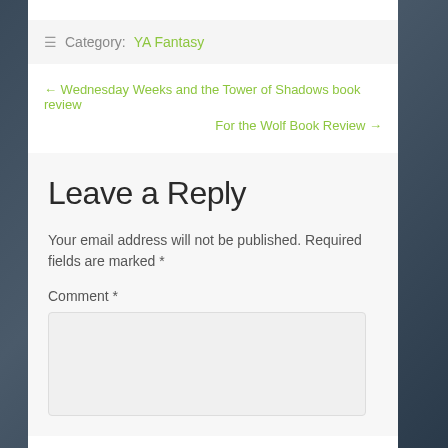≡ Category: YA Fantasy
← Wednesday Weeks and the Tower of Shadows book review
For the Wolf Book Review →
Leave a Reply
Your email address will not be published. Required fields are marked *
Comment *